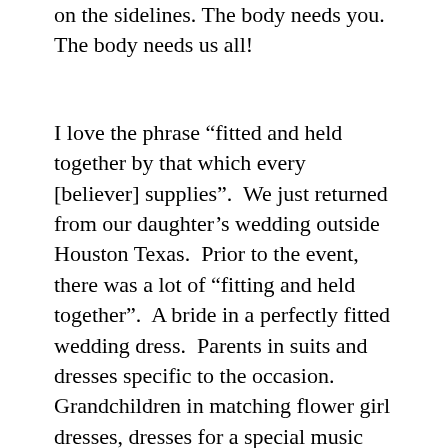on the sidelines. The body needs you. The body needs us all!
I love the phrase “fitted and held together by that which every [believer] supplies”.  We just returned from our daughter’s wedding outside Houston Texas.  Prior to the event, there was a lot of “fitting and held together”.  A bride in a perfectly fitted wedding dress.  Parents in suits and dresses specific to the occasion.  Grandchildren in matching flower girl dresses, dresses for a special music appearance, and young ring bearers looking dapper in matching bowties and suspenders.  A pastor, a groom, groomsmen, and bridesmaids all beautifully dressed for their part.  And a sharply dressed grandson escorting his Nana down the aisle